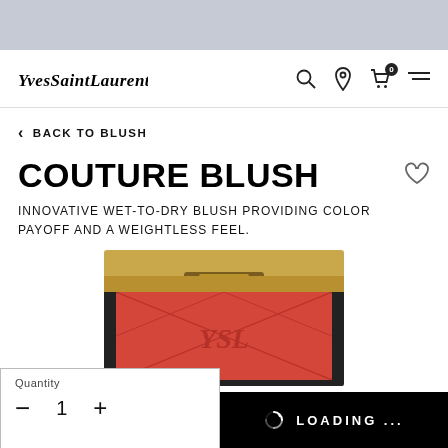[Figure (screenshot): Gray top bar of webpage]
YvesSaintLaurent — navigation bar with search, location, cart (0), and menu icons
< BACK TO BLUSH
COUTURE BLUSH
INNOVATIVE WET-TO-DRY BLUSH PROVIDING COLOR PAYOFF AND A WEIGHTLESS FEEL.
[Figure (photo): YSL Couture Blush compact in coral/red shade with gold frame and YSL logo, shown partially]
Quantity — 1 — (minus) 1 (plus)
LOADING ...